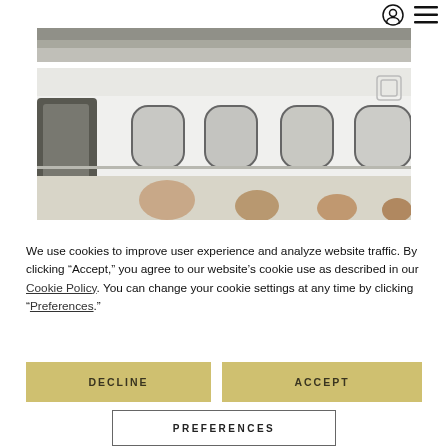[Figure (screenshot): Navigation bar with user account icon (circle with person silhouette) and hamburger menu icon (three horizontal lines) in the top-right corner]
[Figure (photo): Top strip of a photo showing a gray sky or outdoor background]
[Figure (photo): Photo of people (man, woman, and others) standing in front of a white private jet, showing aircraft windows and door]
We use cookies to improve user experience and analyze website traffic. By clicking “Accept,” you agree to our website’s cookie use as described in our Cookie Policy. You can change your cookie settings at any time by clicking “Preferences.”
DECLINE
ACCEPT
PREFERENCES